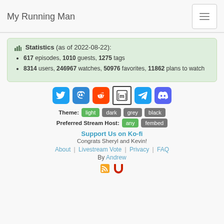My Running Man
Statistics (as of 2022-08-22): 617 episodes, 1010 guests, 1275 tags. 8314 users, 246967 watches, 50976 favorites, 11862 plans to watch
[Figure (infographic): Social media icon buttons: Twitter, Mastodon, Reddit, Matrix, Telegram, Discord]
Theme: light dark grey black
Preferred Stream Host: any fembed
Support Us on Ko-fi
Congrats Sheryl and Kevin!
About | Livestream Vote | Privacy | FAQ
By Andrew
[Figure (infographic): RSS and magnet icons at bottom of page]